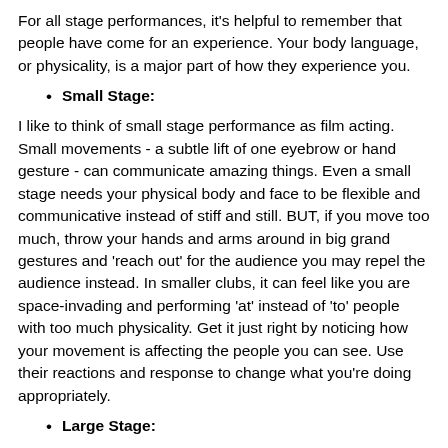For all stage performances, it's helpful to remember that people have come for an experience. Your body language, or physicality, is a major part of how they experience you.
Small Stage:
I like to think of small stage performance as film acting. Small movements - a subtle lift of one eyebrow or hand gesture - can communicate amazing things. Even a small stage needs your physical body and face to be flexible and communicative instead of stiff and still. BUT, if you move too much, throw your hands and arms around in big grand gestures and 'reach out' for the audience you may repel the audience instead. In smaller clubs, it can feel like you are space-invading and performing 'at' instead of 'to' people with too much physicality. Get it just right by noticing how your movement is affecting the people you can see. Use their reactions and response to change what you're doing appropriately.
Large Stage:
I like to think of large stage performance as theater acting. Subtle movements are easily missed and lost on the audience. If you have a disability in...